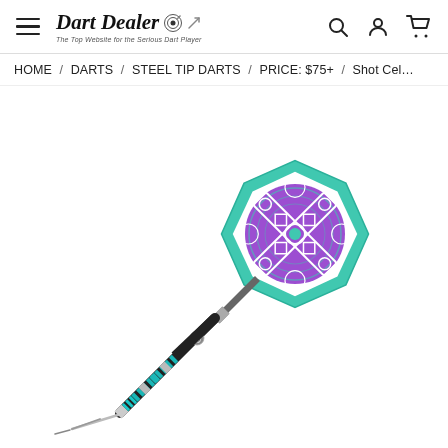Dart Dealer — The Top Website for the Serious Dart Player
HOME / DARTS / STEEL TIP DARTS / PRICE: $75+ / Shot Cel…
[Figure (photo): Shot Celtic Warrior steel tip dart with teal/aqua and black barrel featuring Celtic knot design, teal/purple/white dart flight with ornate Celtic cross pattern, photographed diagonally on white background.]